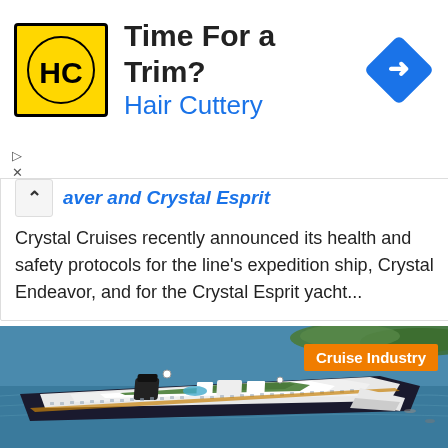[Figure (advertisement): Hair Cuttery ad banner with yellow HC logo, 'Time For a Trim?' title, blue 'Hair Cuttery' subtitle, blue navigation diamond icon, and play/close controls]
aver and Crystal Esprit
Crystal Cruises recently announced its health and safety protocols for the line's expedition ship, Crystal Endeavor, and for the Crystal Esprit yacht...
[Figure (photo): Aerial view of a large cruise ship sailing in blue water near a green coastline with an orange 'Cruise Industry' label overlay]